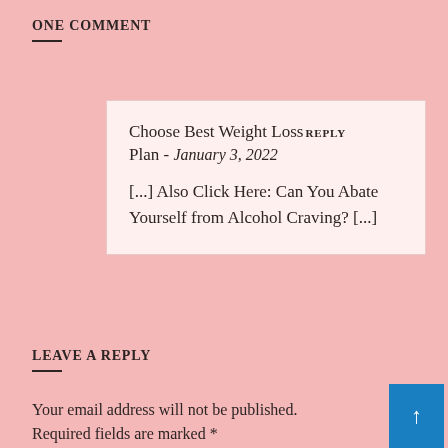ONE COMMENT
Choose Best Weight Loss Plan - January 3, 2022

[...] Also Click Here: Can You Abate Yourself from Alcohol Craving? [...]
LEAVE A REPLY
Your email address will not be published. Required fields are marked *